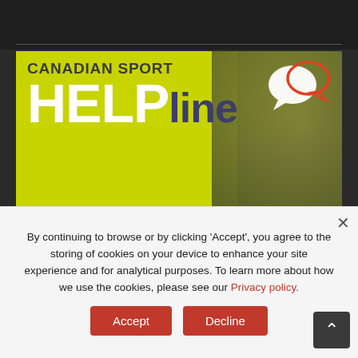[Figure (infographic): Canadian Sport HELPline banner with yellow-green background showing 'CANADIAN SPORT HELPline' text with chat bubble icons. Below: ANONYMOUS | CONFIDENTIAL | INDEPENDENT | BILINGUAL, phone number 1 888 83SPORT (77678), hours 8 am - 8 pm (ET)]
By continuing to browse or by clicking 'Accept', you agree to the storing of cookies on your device to enhance your site experience and for analytical purposes. To learn more about how we use the cookies, please see our Privacy policy.